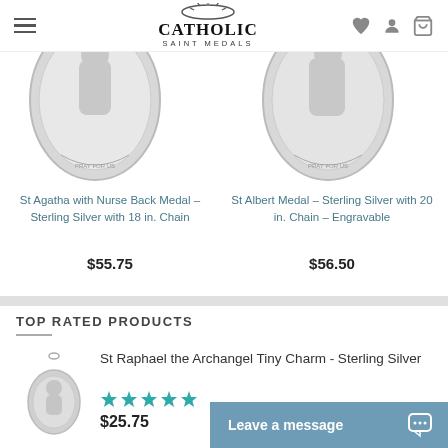Catholic Saint Medals
[Figure (photo): St Agatha with Nurse Back Medal product image - sterling silver medal]
St Agatha with Nurse Back Medal – Sterling Silver with 18 in. Chain
$55.75
[Figure (photo): St Albert Medal - sterling silver medal product image]
St Albert Medal – Sterling Silver with 20 in. Chain – Engravable
$56.50
TOP RATED PRODUCTS
[Figure (photo): St Raphael the Archangel Tiny Charm - Sterling Silver small medal product image]
St Raphael the Archangel Tiny Charm - Sterling Silver
Rated 5 stars
$25.75
Leave a message